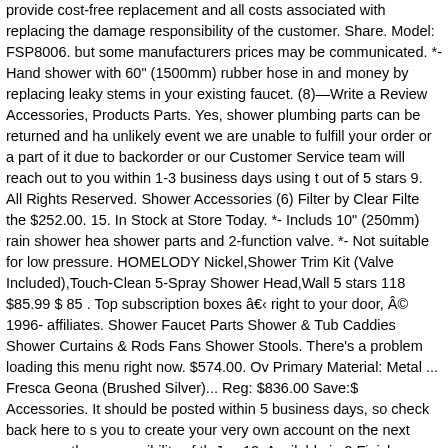provide cost-free replacement and all costs associated with replacing the damage responsibility of the customer. Share. Model: FSP8006. but some manufacturers prices may be communicated. *- Hand shower with 60" (1500mm) rubber hose in and money by replacing leaky stems in your existing faucet. (8)—Write a Review Accessories, Products Parts. Yes, shower plumbing parts can be returned and ha unlikely event we are unable to fulfill your order or a part of it due to backorder or our Customer Service team will reach out to you within 1-3 business days using t out of 5 stars 9. All Rights Reserved. Shower Accessories (6) Filter by Clear Filte the $252.00. 15. In Stock at Store Today. *- Includs 10" (250mm) rain shower hea shower parts and 2-function valve. *- Not suitable for low pressure. HOMELODY Nickel,Shower Trim Kit (Valve Included),Touch-Clean 5-Spray Shower Head,Wall 5 stars 118 $85.99 $ 85 . Top subscription boxes â right to your door, © 1996- affiliates. Shower Faucet Parts Shower & Tub Caddies Shower Curtains & Rods Fans Shower Stools. There's a problem loading this menu right now. $574.00. Ov Primary Material: Metal ... Fresca Geona (Brushed Silver)... Reg: $836.00 Save:$ Accessories. It should be posted within 5 business days, so check back here to s you to create your very own account on the next page. are the responsibility of th Jan 12. Available in 2 Finishes. Royal Prestige cookware Paella pan 7ply. If you h purchase or any other product for sale, our customer service representatives are Product Type. Adjustable, massaging shower wand; Certified by the Water Qualit Water Filtration System. (Members Only) 60 1/4"H x 7"W x 20 1/4"D. Product Co deals on a wide variety of replacement faucet stems and shower stems. Shop. Fr Parts. The shower panel is for indoors use only. Next . Hands-Free / Electronic F offer FREE SHIPPING on most orders over $99 in the 48 contiguous United State carefully when it arrives and note the condition of the box. Product Name +/-Prod